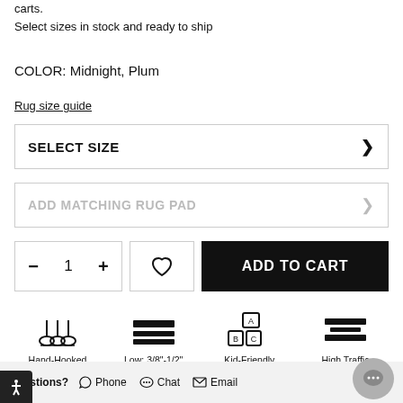carts.
Select sizes in stock and ready to ship
COLOR: Midnight, Plum
Rug size guide
SELECT SIZE
ADD MATCHING RUG PAD
1
ADD TO CART
Hand-Hooked
Low: 3/8"-1/2"
Kid-Friendly
High Traffic
Questions?  Phone  Chat  Email